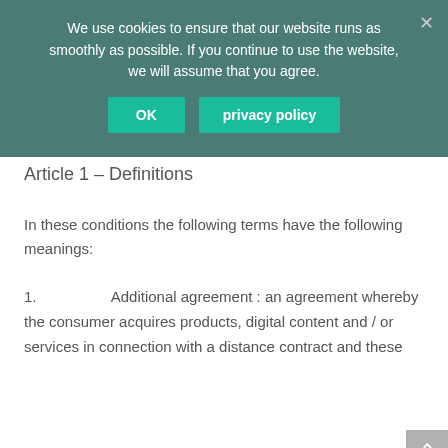We use cookies to ensure that our website runs as smoothly as possible. If you continue to use the website, we will assume that you agree.
OK   privacy policy
Article 1 – Definitions
In these conditions the following terms have the following meanings:
1.   Additional agreement : an agreement whereby the consumer acquires products, digital content and / or services in connection with a distance contract and these